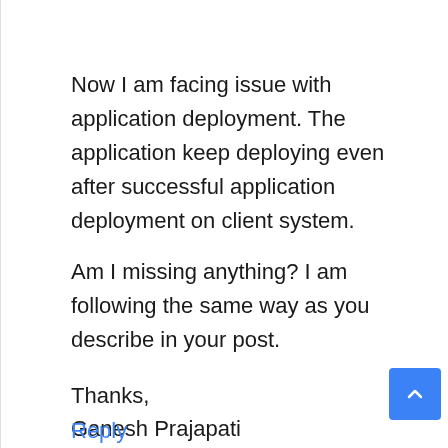Now I am facing issue with application deployment. The application keep deploying even after successful application deployment on client system.
Am I missing anything? I am following the same way as you describe in your post.
Thanks,
Ganesh Prajapati
Reply